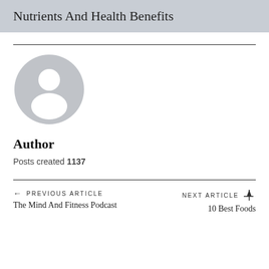Nutrients And Health Benefits
[Figure (illustration): Generic user avatar icon — grey circle with white silhouette of a person (head and shoulders)]
Author
Posts created 1137
PREVIOUS ARTICLE
The Mind And Fitness Podcast
NEXT ARTICLE
10 Best Foods